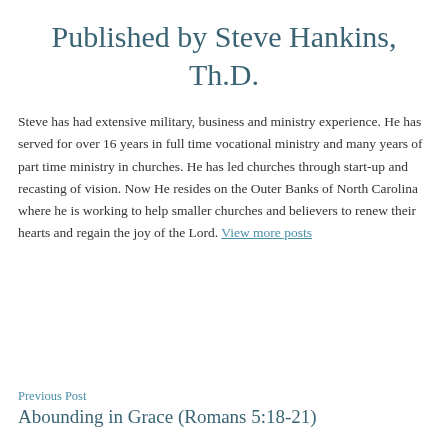Published by Steve Hankins, Th.D.
Steve has had extensive military, business and ministry experience. He has served for over 16 years in full time vocational ministry and many years of part time ministry in churches. He has led churches through start-up and recasting of vision. Now He resides on the Outer Banks of North Carolina where he is working to help smaller churches and believers to renew their hearts and regain the joy of the Lord. View more posts
Previous Post
Abounding in Grace (Romans 5:18-21)